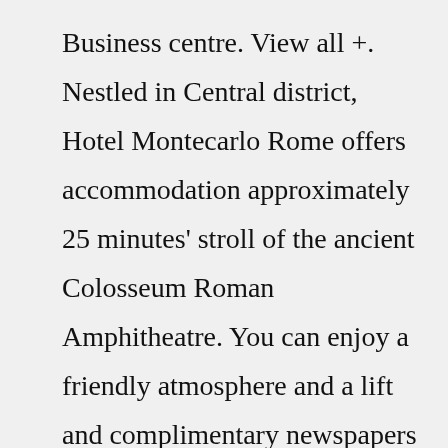Business centre. View all +. Nestled in Central district, Hotel Montecarlo Rome offers accommodation approximately 25 minutes' stroll of the ancient Colosseum Roman Amphitheatre. You can enjoy a friendly atmosphere and a lift and complimentary newspapers provided at ... RMC ITALIA S.P.A.Via Principe Amedeo, 2 — 20121 MILANO P.I. 08745900152 Iscrizione Reg. Imprese di Milano n° 08745900152 Capitale Sociale S...